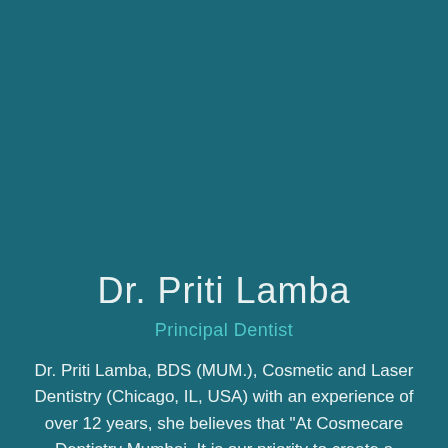Dr. Priti Lamba
Principal Dentist
Dr. Priti Lamba, BDS (MUM.), Cosmetic and Laser Dentistry (Chicago, IL, USA) with an experience of over 12 years, she believes that "At Cosmecare Dentistry Mumbai, It is our priority to create a warm, comfortable